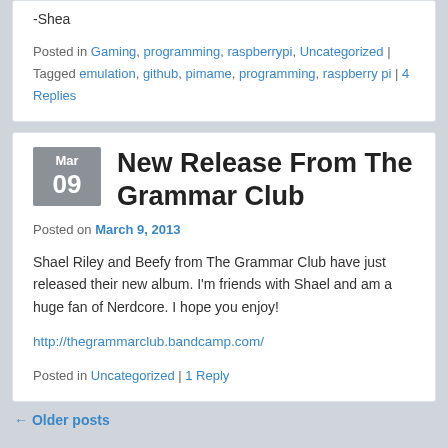-Shea
Posted in Gaming, programming, raspberrypi, Uncategorized | Tagged emulation, github, pimame, programming, raspberry pi | 4 Replies
New Release From The Grammar Club
Posted on March 9, 2013
Shael Riley and Beefy from The Grammar Club have just released their new album.  I'm friends with Shael and am a huge fan of Nerdcore.  I hope you enjoy!
http://thegrammarclub.bandcamp.com/
Posted in Uncategorized | 1 Reply
← Older posts